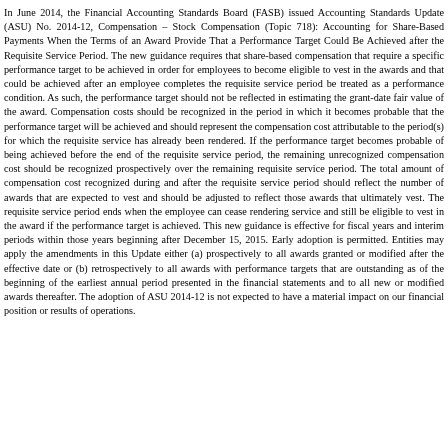In June 2014, the Financial Accounting Standards Board (FASB) issued Accounting Standards Update (ASU) No. 2014-12, Compensation – Stock Compensation (Topic 718): Accounting for Share-Based Payments When the Terms of an Award Provide That a Performance Target Could Be Achieved after the Requisite Service Period. The new guidance requires that share-based compensation that require a specific performance target to be achieved in order for employees to become eligible to vest in the awards and that could be achieved after an employee completes the requisite service period be treated as a performance condition. As such, the performance target should not be reflected in estimating the grant-date fair value of the award. Compensation costs should be recognized in the period in which it becomes probable that the performance target will be achieved and should represent the compensation cost attributable to the period(s) for which the requisite service has already been rendered. If the performance target becomes probable of being achieved before the end of the requisite service period, the remaining unrecognized compensation cost should be recognized prospectively over the remaining requisite service period. The total amount of compensation cost recognized during and after the requisite service period should reflect the number of awards that are expected to vest and should be adjusted to reflect those awards that ultimately vest. The requisite service period ends when the employee can cease rendering service and still be eligible to vest in the award if the performance target is achieved. This new guidance is effective for fiscal years and interim periods within those years beginning after December 15, 2015. Early adoption is permitted. Entities may apply the amendments in this Update either (a) prospectively to all awards granted or modified after the effective date or (b) retrospectively to all awards with performance targets that are outstanding as of the beginning of the earliest annual period presented in the financial statements and to all new or modified awards thereafter. The adoption of ASU 2014-12 is not expected to have a material impact on our financial position or results of operations.